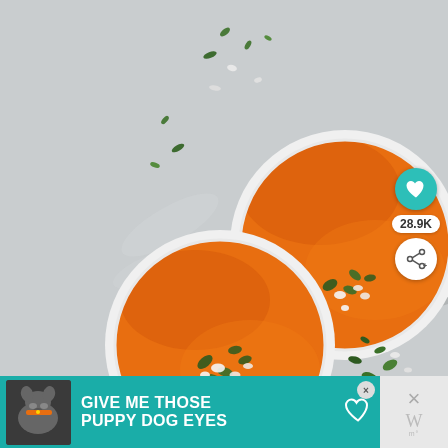[Figure (photo): Overhead view of two white bowls filled with orange creamy tomato soup, garnished with crumbled white cheese and fresh green herbs, placed on a light gray concrete surface with scattered herb leaves and cheese crumbles around them. Social sharing icons (heart and share) appear on the right side with a count of 28.9K.]
28.9K
[Figure (infographic): Advertisement banner with teal background featuring a bulldog photo, text reading 'GIVE ME THOSE PUPPY DOG EYES' in bold white uppercase letters, a heart icon, and a close (X) button. On the right side: a dismiss X button and a Wm logo.]
GIVE ME THOSE PUPPY DOG EYES